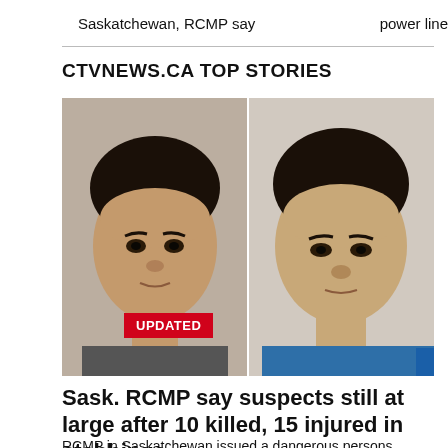Saskatchewan, RCMP say	power lines
CTVNEWS.CA TOP STORIES
[Figure (photo): Two mugshot photos side by side: left photo shows a young Indigenous man with dark hair against a light wall; right photo shows another man in a blue shirt against a light background. An 'UPDATED' red badge overlays the bottom-left corner. A blue vertical bar appears at bottom-right.]
Sask. RCMP say suspects still at large after 10 killed, 15 injured in stabbings
RCMP in Saskatchewan issued a dangerous persons